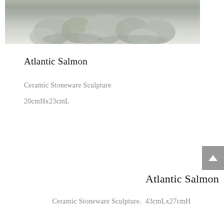[Figure (photo): Close-up photo of a ceramic stoneware sculpture of an Atlantic Salmon, showing the base with rounded stone-like elements in muted grey-green tones against a light background.]
Atlantic Salmon
Ceramic Stoneware Sculpture
20cmHx23cmL
Atlantic Salmon
Ceramic Stoneware Sculpture.  43cmLx27cmH